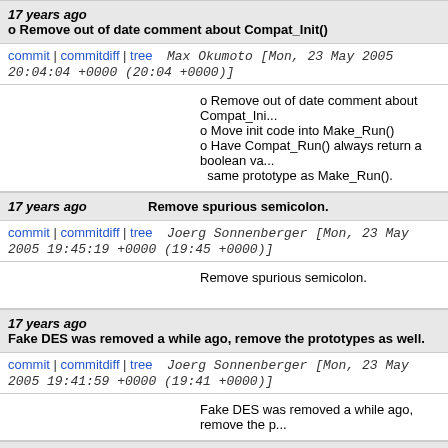17 years ago   o Remove out of date comment about Compat_Init()
commit | commitdiff | tree   Max Okumoto [Mon, 23 May 2005 20:04:04 +0000 (20:04 +0000)]
o Remove out of date comment about Compat_Init()
o Move init code into Make_Run()
o Have Compat_Run() always return a boolean va same prototype as Make_Run().
17 years ago   Remove spurious semicolon.
commit | commitdiff | tree   Joerg Sonnenberger [Mon, 23 May 2005 19:45:19 +0000 (19:45 +0000)]
Remove spurious semicolon.
17 years ago   Fake DES was removed a while ago, remove the prototypes as well.
commit | commitdiff | tree   Joerg Sonnenberger [Mon, 23 May 2005 19:41:59 +0000 (19:41 +0000)]
Fake DES was removed a while ago, remove the p
17 years ago   Pass examFlag as a function parameter